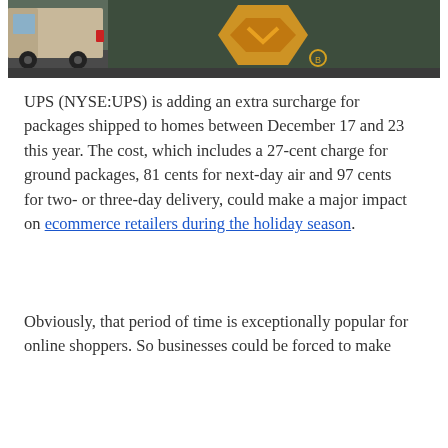[Figure (photo): Photo of a UPS truck and an Amazon logo/shield in a street scene]
UPS (NYSE:UPS) is adding an extra surcharge for packages shipped to homes between December 17 and 23 this year. The cost, which includes a 27-cent charge for ground packages, 81 cents for next-day air and 97 cents for two- or three-day delivery, could make a major impact on ecommerce retailers during the holiday season.
Obviously, that period of time is exceptionally popular for online shoppers. So businesses could be forced to make